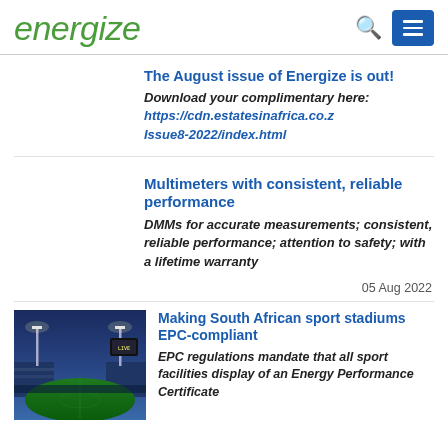energize
The August issue of Energize is out!
Download your complimentary here: https://cdn.estatesinafrica.co.z Issue8-2022/index.html
Multimeters with consistent, reliable performance
DMMs for accurate measurements; consistent, reliable performance; attention to safety; with a lifetime warranty
05 Aug 2022
[Figure (photo): Night view of a South African sport stadium with floodlights illuminating a green cricket/football pitch and grandstands.]
Making South African sport stadiums EPC-compliant
EPC regulations mandate that all sport facilities display of an Energy Performance Certificate